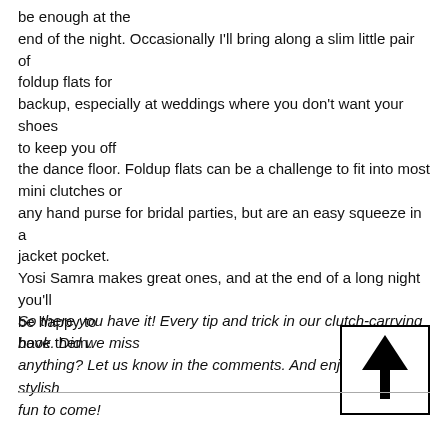be enough at the end of the night. Occasionally I'll bring along a slim little pair of foldup flats for backup, especially at weddings where you don't want your shoes to keep you off the dance floor. Foldup flats can be a challenge to fit into most mini clutches or any hand purse for bridal parties, but are an easy squeeze in a jacket pocket. Yosi Samra makes great ones, and at the end of a long night you'll be happy to have them.
So there you have it! Every tip and trick in our clutch-carrying book. Did we miss anything? Let us know in the comments. And enjoy all the stylish fun to come!
[Figure (illustration): A square box containing an upward-pointing arrow icon]